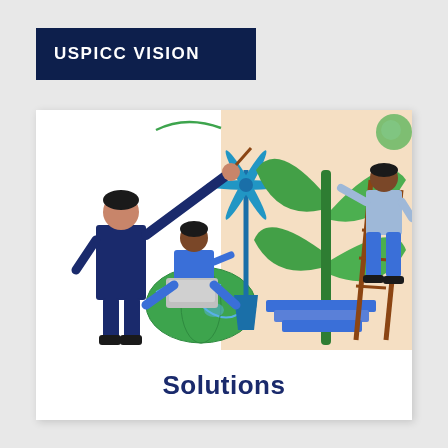USPICC VISION
[Figure (illustration): Illustration showing three figures working on sustainability solutions: a person in a suit pointing at a wind turbine, a person sitting on a globe with a laptop, and a person on a ladder tending to a large green plant. Themes of clean energy, technology, and environmental growth.]
Solutions